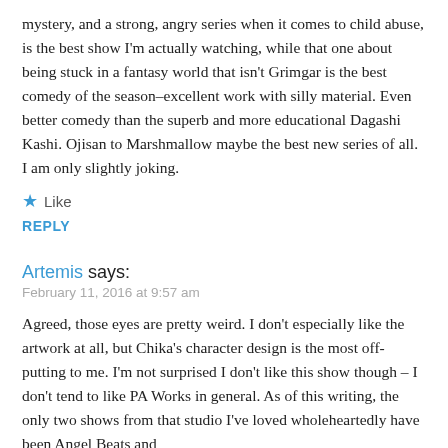mystery, and a strong, angry series when it comes to child abuse, is the best show I'm actually watching, while that one about being stuck in a fantasy world that isn't Grimgar is the best comedy of the season–excellent work with silly material. Even better comedy than the superb and more educational Dagashi Kashi. Ojisan to Marshmallow maybe the best new series of all. I am only slightly joking.
★ Like
REPLY
Artemis says:
February 11, 2016 at 9:57 am
Agreed, those eyes are pretty weird. I don't especially like the artwork at all, but Chika's character design is the most off-putting to me. I'm not surprised I don't like this show though – I don't tend to like PA Works in general. As of this writing, the only two shows from that studio I've loved wholeheartedly have been Angel Beats and Uchouten Kazoku/Eccentric Family.